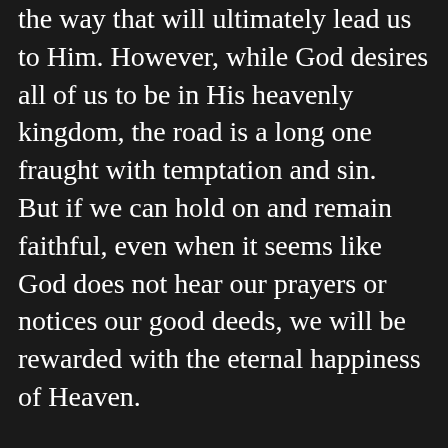the way that will ultimately lead us to Him. However, while God desires all of us to be in His heavenly kingdom, the road is a long one fraught with temptation and sin. But if we can hold on and remain faithful, even when it seems like God does not hear our prayers or notices our good deeds, we will be rewarded with the eternal happiness of Heaven.
Why must our faith be difficult to live at times? Why don't we get direct answers to our prayers from a thundering voice in the clouds? Why must we endure such hardship and struggle? I think Mother Teresa can help us find an answer. In her private letters to Rev. Michael Van Der Peet she once said (as reported in this